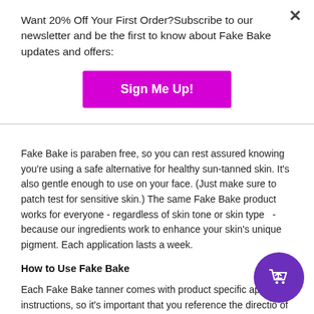Want 20% Off Your First Order?Subscribe to our newsletter and be the first to know about Fake Bake updates and offers:
[Figure (other): Sign Me Up! button — magenta/pink rounded rectangle with white bold text]
Fake Bake is paraben free, so you can rest assured knowing you're using a safe alternative for healthy sun-tanned skin. It's also gentle enough to use on your face. (Just make sure to patch test for sensitive skin.) The same Fake Bake product works for everyone - regardless of skin tone or skin type   - because our ingredients work to enhance your skin's unique pigment. Each application lasts a week.
How to Use Fake Bake
Each Fake Bake tanner comes with product specific applic- instructions, so it's important that you reference the directio- of time. Before you use any self-tanning product, you should clean, exfoliate and prepare your skin using Fake Bake Coconut Exfoliating
[Figure (other): Purple circular shopping bag / cart icon in bottom right corner]